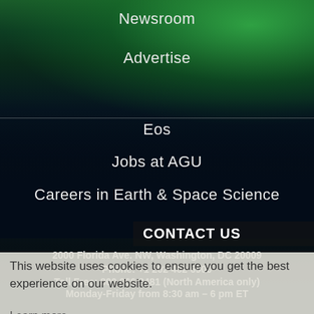Newsroom
Advertise
Eos
Jobs at AGU
Careers in Earth & Space Science
CONTACT US
2000 Florida Ave. NW, Washington, DC 20009
Phone: +1 202 462 6900
Toll Free: 800 966 2481 (North America only)
Monday-Friday from 8:30 am – 6 pm ET
This website uses cookies to ensure you get the best experience on our website.
Learn more
Accept
© 2022  American Geophysical Union | All rights reserved | Privacy Policy